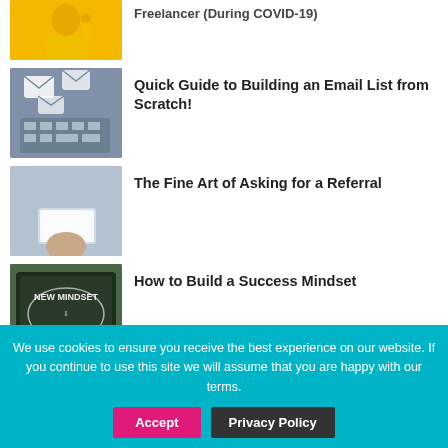[Figure (photo): Woman in yellow sweater, excited pose, cropped at top]
Quick Guide to Building an Email List from Scratch!
[Figure (photo): Hands typing on keyboard with email envelope icons floating above]
The Fine Art of Asking for a Referral
[Figure (photo): Person handing a business card, blue tones, blurred background]
How to Build a Success Mindset
[Figure (photo): Chalkboard with 'New Mindset New Results' written on it]
We use cookies to ensure you receive the best experience on our website. If you continue to use this site we will assume that you are happy with our terms.